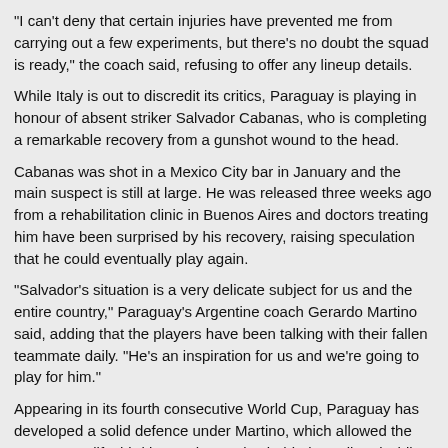"I can't deny that certain injuries have prevented me from carrying out a few experiments, but there's no doubt the squad is ready," the coach said, refusing to offer any lineup details.
While Italy is out to discredit its critics, Paraguay is playing in honour of absent striker Salvador Cabanas, who is completing a remarkable recovery from a gunshot wound to the head.
Cabanas was shot in a Mexico City bar in January and the main suspect is still at large. He was released three weeks ago from a rehabilitation clinic in Buenos Aires and doctors treating him have been surprised by his recovery, raising speculation that he could eventually play again.
"Salvador's situation is a very delicate subject for us and the entire country," Paraguay's Argentine coach Gerardo Martino said, adding that the players have been talking with their fallen teammate daily. "He's an inspiration for us and we're going to play for him."
Appearing in its fourth consecutive World Cup, Paraguay has developed a solid defence under Martino, which allowed the team to qualify third in South America behind Brazil and Chile, and ahead of Argentina.
The impressive qualifying campaign included a 2-0 win over Brazil and a 1-0 victory over Argentina.
With Italy also traditionally defence-oriented, the game is shaping up as a low-scoring affair, although both coaches indicated they planned to go forward.
"Every team you face at the World Cup is tough - there are no easy squads. So to beat a team like Paraguay you have to attack it," Lippi said. "But you also need to defend, because they have some very